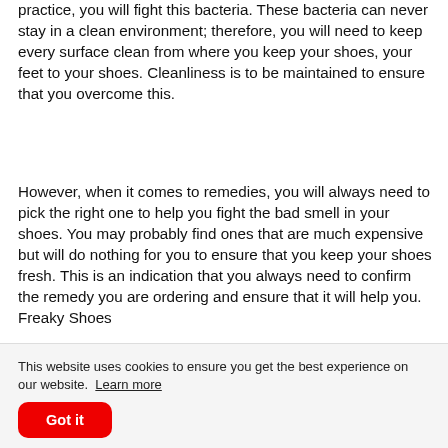practice, you will fight this bacteria. These bacteria can never stay in a clean environment; therefore, you will need to keep every surface clean from where you keep your shoes, your feet to your shoes. Cleanliness is to be maintained to ensure that you overcome this.
However, when it comes to remedies, you will always need to pick the right one to help you fight the bad smell in your shoes. You may probably find ones that are much expensive but will do nothing for you to ensure that you keep your shoes fresh. This is an indication that you always need to confirm the remedy you are ordering and ensure that it will help you. Freaky Shoes
This website uses cookies to ensure you get the best experience on our website.  Learn more
Got it